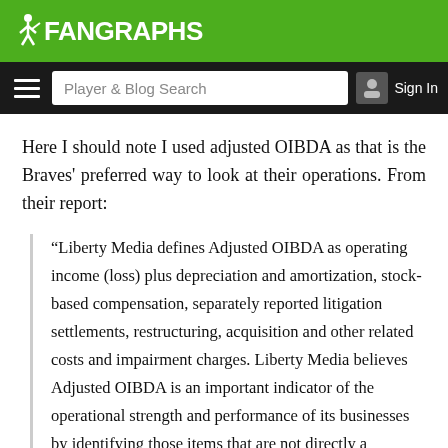FanGraphs
Here I should note I used adjusted OIBDA as that is the Braves' preferred way to look at their operations. From their report:
“Liberty Media defines Adjusted OIBDA as operating income (loss) plus depreciation and amortization, stock-based compensation, separately reported litigation settlements, restructuring, acquisition and other related costs and impairment charges. Liberty Media believes Adjusted OIBDA is an important indicator of the operational strength and performance of its businesses by identifying those items that are not directly a reflection of each business’ performance or indicative of